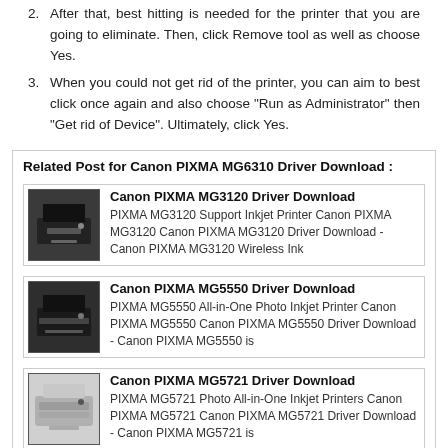2. After that, best hitting is needed for the printer that you are going to eliminate. Then, click Remove tool as well as choose Yes.
3. When you could not get rid of the printer, you can aim to best click once again and also choose "Run as Administrator" then "Get rid of Device". Ultimately, click Yes.
Related Post for Canon PIXMA MG6310 Driver Download :
Canon PIXMA MG3120 Driver Download - PIXMA MG3120 Support Inkjet Printer Canon PIXMA MG3120 Canon PIXMA MG3120 Driver Download - Canon PIXMA MG3120 Wireless Ink
Canon PIXMA MG5550 Driver Download - PIXMA MG5550 All-in-One Photo Inkjet Printer Canon PIXMA MG5550 Canon PIXMA MG5550 Driver Download - Canon PIXMA MG5550 is
Canon PIXMA MG5721 Driver Download - PIXMA MG5721 Photo All-in-One Inkjet Printers Canon PIXMA MG5721 Canon PIXMA MG5721 Driver Download - Canon PIXMA MG5721 is
Canon PIXMA MG7100 Driver Download - PIXMA MG7100 Photo All-in-One Inkjet Printers Canon PIXMA